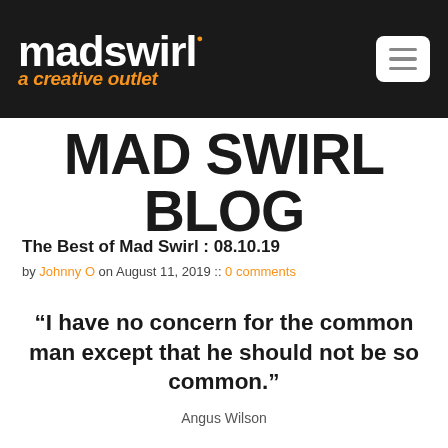mad swirl a creative outlet
MAD SWIRL BLOG
The Best of Mad Swirl : 08.10.19
by Johnny O on August 11, 2019 :: 0 comments
“I have no concern for the common man except that he should not be so common.”
Angus Wilson